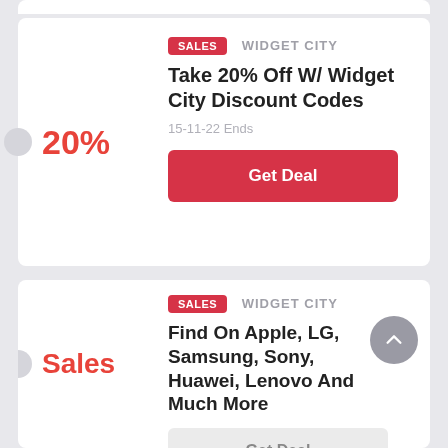[Figure (screenshot): Top partial card stub visible at very top of page]
SALES  WIDGET CITY
Take 20% Off W/ Widget City Discount Codes
20%
15-11-22 Ends
Get Deal
SALES  WIDGET CITY
Find On Apple, LG, Samsung, Sony, Huawei, Lenovo And Much More
Sales
Get Deal